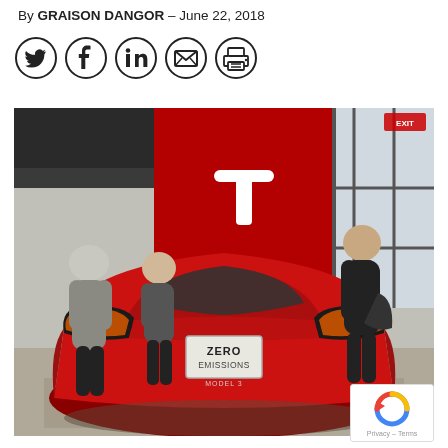By GRAISON DANGOR – June 22, 2018
[Figure (infographic): Row of five social sharing icon buttons in circles: Twitter, Facebook, LinkedIn, Email, Print]
[Figure (photo): Rear view of a red Tesla Model 3 with 'ZERO EMISSIONS' license plate displayed in a Tesla showroom. People are visible browsing around the car, and the Tesla logo is visible on a red wall in the background.]
[Figure (logo): Google reCAPTCHA badge with Privacy – Terms text]